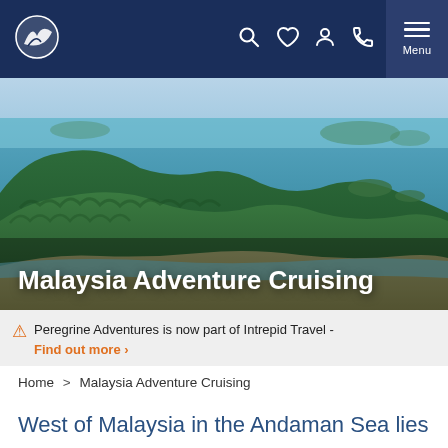Navigation bar with logo and icons: search, heart, person, phone, Menu
[Figure (photo): Aerial view of Malaysia coastline with lush green forested hills and turquoise blue sea water, with small islands visible in the background.]
Malaysia Adventure Cruising
⚠ Peregrine Adventures is now part of Intrepid Travel - Find out more ›
Home > Malaysia Adventure Cruising
West of Malaysia in the Andaman Sea lies